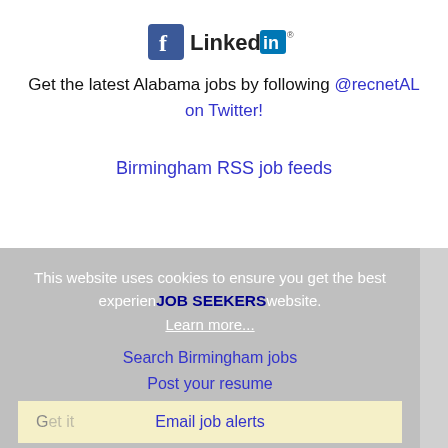[Figure (logo): Facebook and LinkedIn logos side by side]
Get the latest Alabama jobs by following @recnetAL on Twitter!
Birmingham RSS job feeds
This website uses cookies to ensure you get the best experience on our website. Learn more.
JOB SEEKERS
Search Birmingham jobs
Post your resume
Email job alerts
Register / Log in